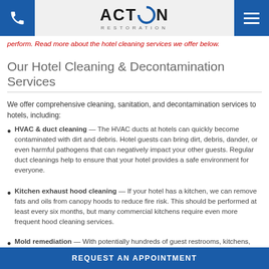Action Restoration
perform. Read more about the hotel cleaning services we offer below.
Our Hotel Cleaning & Decontamination Services
We offer comprehensive cleaning, sanitation, and decontamination services to hotels, including:
HVAC & duct cleaning — The HVAC ducts at hotels can quickly become contaminated with dirt and debris. Hotel guests can bring dirt, debris, dander, or even harmful pathogens that can negatively impact your other guests. Regular duct cleanings help to ensure that your hotel provides a safe environment for everyone.
Kitchen exhaust hood cleaning — If your hotel has a kitchen, we can remove fats and oils from canopy hoods to reduce fire risk. This should be performed at least every six months, but many commercial kitchens require even more frequent hood cleaning services.
Mold remediation — With potentially hundreds of guest restrooms, kitchens, janitorial areas, and commercial-sized HVAC systems, there is a
REQUEST AN APPOINTMENT